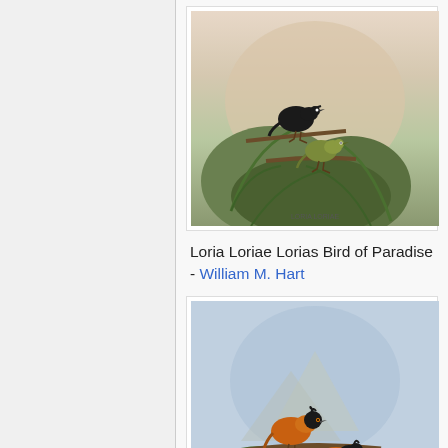[Figure (illustration): Illustration of two birds (Loria Loriae Lorias Bird of Paradise) perched on branches among foliage, one black and one olive-green, in a natural setting. Artwork by William M. Hart.]
Loria Loriae Lorias Bird of Paradise - William M. Hart
[Figure (illustration): Illustration of two orange-and-black birds (Cnemophilus Macgregorii Sickle Crested Bird of Paradise) perched on mossy branches with a mountainous background. Artwork by William M. Hart.]
Cnemophilus Macgregorii Sickle Crested Bird of Paradise - William M. Hart